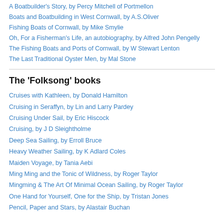A Boatbuilder's Story, by Percy Mitchell of Portmellon
Boats and Boatbuilding in West Cornwall, by A.S.Oliver
Fishing Boats of Cornwall, by Mike Smylie
Oh, For a Fisherman's Life, an autobiography, by Alfred John Pengelly
The Fishing Boats and Ports of Cornwall, by W Stewart Lenton
The Last Traditional Oyster Men, by Mal Stone
The 'Folksong' books
Cruises with Kathleen, by Donald Hamilton
Cruising in Seraffyn, by Lin and Larry Pardey
Cruising Under Sail, by Eric Hiscock
Cruising, by J D Sleightholme
Deep Sea Sailing, by Erroll Bruce
Heavy Weather Sailing, by K Adlard Coles
Maiden Voyage, by Tania Aebi
Ming Ming and the Tonic of Wildness, by Roger Taylor
Mingming & The Art Of Minimal Ocean Sailing, by Roger Taylor
One Hand for Yourself, One for the Ship, by Tristan Jones
Pencil, Paper and Stars, by Alastair Buchan